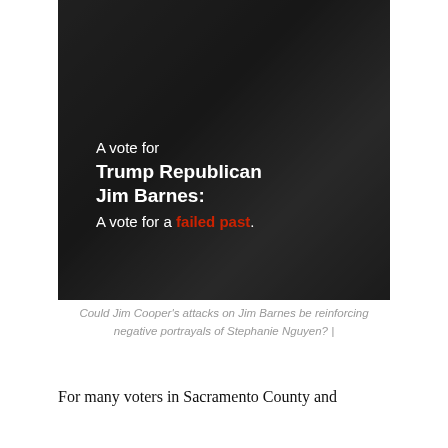[Figure (photo): Dark political attack ad image showing Jim Barnes (Trump Republican) with text overlay: 'A vote for Trump Republican Jim Barnes: A vote for a failed past.' The image has a dark, shadowy aesthetic with two figures in dark suits.]
Could Jim Cooper's attacks on Jim Barnes be reinforcing negative portrayals of Stephanie Nguyen? |
For many voters in Sacramento County and